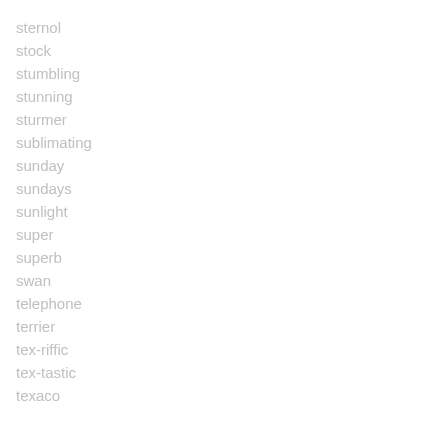sternol
stock
stumbling
stunning
sturmer
sublimating
sunday
sundays
sunlight
super
superb
swan
telephone
terrier
tex-riffic
tex-tastic
texaco